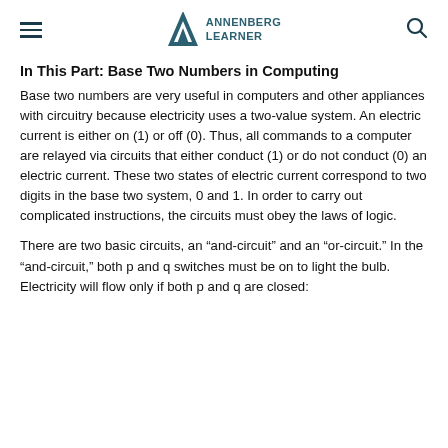ANNENBERG LEARNER
In This Part: Base Two Numbers in Computing
Base two numbers are very useful in computers and other appliances with circuitry because electricity uses a two-value system. An electric current is either on (1) or off (0). Thus, all commands to a computer are relayed via circuits that either conduct (1) or do not conduct (0) an electric current. These two states of electric current correspond to two digits in the base two system, 0 and 1. In order to carry out complicated instructions, the circuits must obey the laws of logic.
There are two basic circuits, an “and-circuit” and an “or-circuit.” In the “and-circuit,” both p and q switches must be on to light the bulb. Electricity will flow only if both p and q are closed: